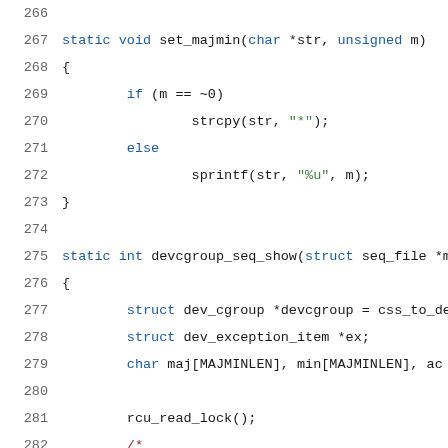Source code listing, lines 266-286, C language
266 (blank)
267   static void set_majmin(char *str, unsigned m)
268   {
269           if (m == ~0)
270                   strcpy(str, "*");
271           else
272                   sprintf(str, "%u", m);
273   }
274 (blank)
275   static int devcgroup_seq_show(struct seq_file *m
276   {
277           struct dev_cgroup *devcgroup = css_to_de
278           struct dev_exception_item *ex;
279           char maj[MAJMINLEN], min[MAJMINLEN], ac
280 (blank)
281           rcu_read_lock();
282           /*
283            * To preserve the compatibility:
284            * - Only show the "all devices" when th
285            * - List the exceptions in case the de
286            * This way, the file remains as a "whi